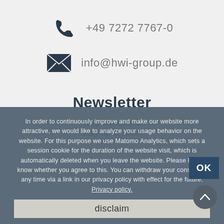+49 7272 7767-0
info@hwi-group.de
Newsletter
Register now &
stay up to date!
In order to continuously improve and make our website more attractive, we would like to analyze your usage behavior on the website. For this purpose we use Matomo Analytics, which sets a session cookie for the duration of the website visit, which is automatically deleted when you leave the website. Please let us know whether you agree to this. You can withdraw your consent at any time via a link in our privacy policy with effect for the future. Privacy policy.
disclaim
OK